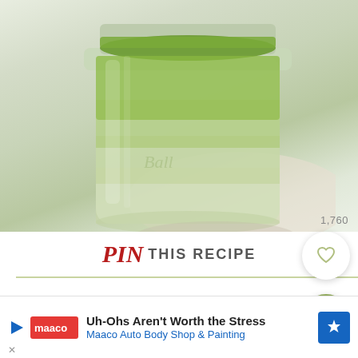[Figure (photo): Close-up photo of a glass mason jar filled with green pesto or herb sauce, photographed from above-side angle on a white/light background.]
1,760
Pin THIS RECIPE
[Figure (other): Advertisement banner: Maaco Auto Body Shop & Painting - Uh-Ohs Aren't Worth the Stress]